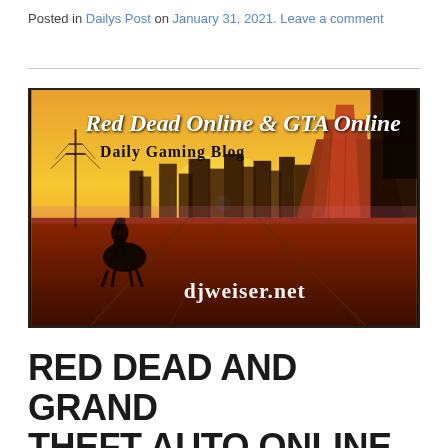Posted in Dailys Post on January 31, 2021. Leave a comment
[Figure (illustration): Banner image for Red Dead Online & GTA Online Daily Gaming Blog at djweiser.net. Shows a dramatic sunset scene with a city skyline, red rock formations (Monument Valley style), and a silhouetted figure on horseback in the foreground. White cursive text reads 'Red Dead Online & GTA Online', black serif text reads 'Daily Gaming Blog', and bottom right shows 'djweiser.net' in white cursive.]
RED DEAD AND GRAND THEFT AUTO ONLINE